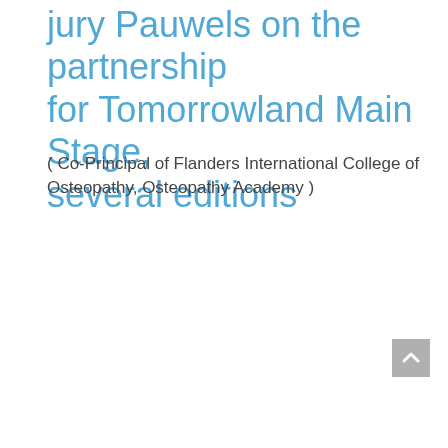jury Pauwels on the partnership for Tomorrowland Main Stage, several editions
( Co-Principal of Flanders International College of Osteopathy, Osteopathy Academy )